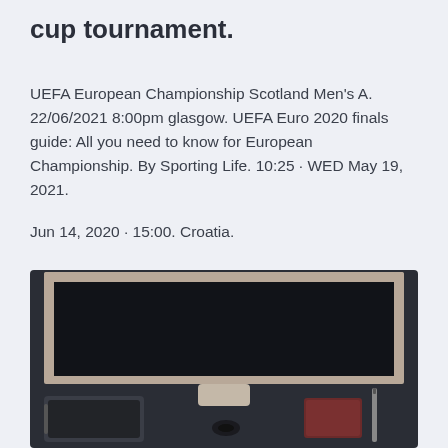cup tournament.
UEFA European Championship Scotland Men's A. 22/06/2021 8:00pm glasgow. UEFA Euro 2020 finals guide: All you need to know for European Championship. By Sporting Life. 10:25 · WED May 19, 2021.
Jun 14, 2020 · 15:00. Croatia.
[Figure (photo): Top-down view of a desk with a large dark monitor/screen, tablet device, pen, small object (earphones/cable), and passport or book, on a dark surface.]